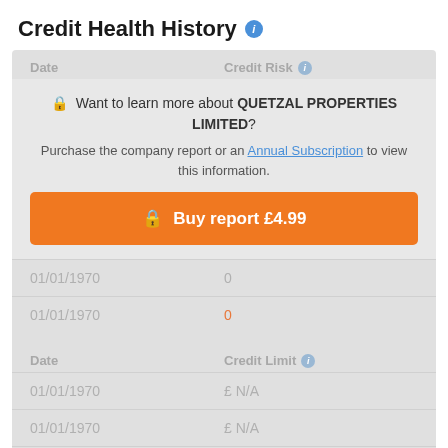Credit Health History
| Date | Credit Risk |
| --- | --- |
| 01/01/1970 |  |
| 01/01/1970 |  |
| 01/01/1970 | 0 |
| 01/01/1970 | 0 |
🔒 Want to learn more about QUETZAL PROPERTIES LIMITED? Purchase the company report or an Annual Subscription to view this information.
Buy report £4.99
| Date | Credit Limit |
| --- | --- |
| 01/01/1970 | £ N/A |
| 01/01/1970 | £ N/A |
| 01/01/1970 | £ N/A |